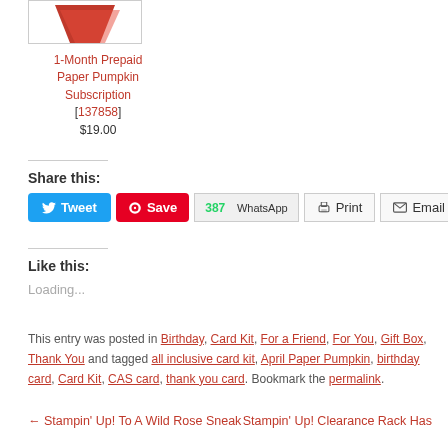[Figure (photo): Product image of 1-Month Prepaid Paper Pumpkin Subscription in a bordered box]
1-Month Prepaid Paper Pumpkin Subscription [137858] $19.00
Share this:
Tweet | Save | 387 WhatsApp | Print | Email
Like this:
Loading...
This entry was posted in Birthday, Card Kit, For a Friend, For You, Gift Box, Thank You and tagged all inclusive card kit, April Paper Pumpkin, birthday card, Card Kit, CAS card, thank you card. Bookmark the permalink.
← Stampin' Up! To A Wild Rose Sneak
Stampin' Up! Clearance Rack Has